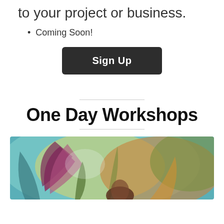to your project or business.
Coming Soon!
[Figure (other): Sign Up button — dark rounded rectangle with white bold text]
One Day Workshops
[Figure (illustration): Colorful painting of a flower or plant with purple, yellow, green, and orange hues — partially visible at bottom of page]